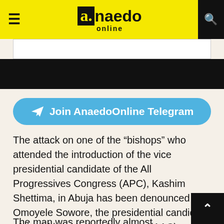a.naedo online
[Figure (other): Advertisement banner area - white rectangle with border above black rectangle]
[Figure (infographic): Telegram join button - blue rounded rectangle with Telegram arrow icon and text 'Join AnaedoOnline Telegram']
The attack on one of the “bishops” who attended the introduction of the vice presidential candidate of the All Progressives Congress (APC), Kashim Shettima, in Abuja has been denounced by Omoyele Sowore, the presidential candidate of the African Action Congress (AAC).
The man was reportedly almost lynched by some young people in the Federal Capital Territory (FCT) on Saturday, according to Anaedoonline.ng.